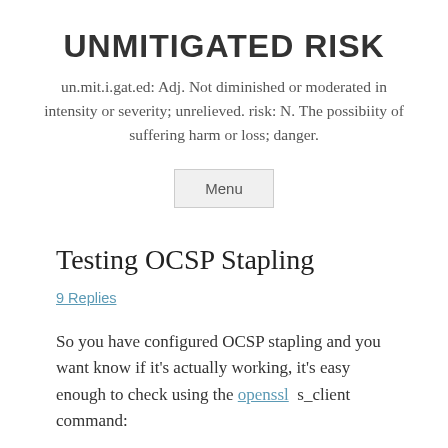UNMITIGATED RISK
un.mit.i.gat.ed: Adj. Not diminished or moderated in intensity or severity; unrelieved. risk: N. The possibiity of suffering harm or loss; danger.
Menu
Testing OCSP Stapling
9 Replies
So you have configured OCSP stapling and you want know if it's actually working, it's easy enough to check using the openssl  s_client command: